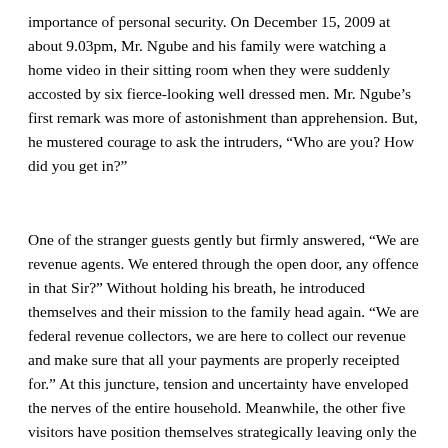importance of personal security. On December 15, 2009 at about 9.03pm, Mr. Ngube and his family were watching a home video in their sitting room when they were suddenly accosted by six fierce-looking well dressed men. Mr. Ngube’s first remark was more of astonishment than apprehension. But, he mustered courage to ask the intruders, “Who are you? How did you get in?”
One of the stranger guests gently but firmly answered, “We are revenue agents. We entered through the open door, any offence in that Sir?” Without holding his breath, he introduced themselves and their mission to the family head again. “We are federal revenue collectors, we are here to collect our revenue and make sure that all your payments are properly receipted for.” At this juncture, tension and uncertainty have enveloped the nerves of the entire household. Meanwhile, the other five visitors have position themselves strategically leaving only the team leader and Ngube to enjoy the dialogue of death.
“Which revenue do you want from me?” Ngube asked with an